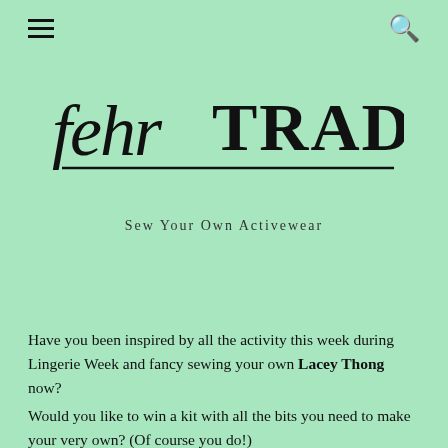≡ (hamburger menu) and search icon
[Figure (logo): fehr TRADE logo in script and decorative serif font with horizontal rule underline]
Sew Your Own Activewear
Have you been inspired by all the activity this week during Lingerie Week and fancy sewing your own Lacey Thong now?
Would you like to win a kit with all the bits you need to make your very own? (Of course you do!)